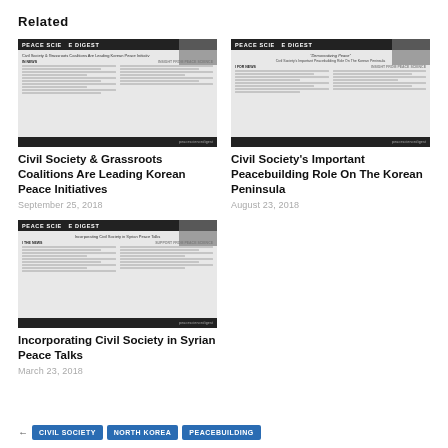Related
[Figure (screenshot): Thumbnail of Peace Science Digest article: Civil Society & Grassroots Coalitions Are Leading Korean Peace Initiatives]
Civil Society & Grassroots Coalitions Are Leading Korean Peace Initiatives
September 25, 2018
[Figure (screenshot): Thumbnail of Peace Science Digest article: Civil Society's Important Peacebuilding Role On The Korean Peninsula]
Civil Society's Important Peacebuilding Role On The Korean Peninsula
August 23, 2018
[Figure (screenshot): Thumbnail of Peace Science Digest article: Incorporating Civil Society in Syrian Peace Talks]
Incorporating Civil Society in Syrian Peace Talks
March 23, 2018
CIVIL SOCIETY
NORTH KOREA
PEACEBUILDING